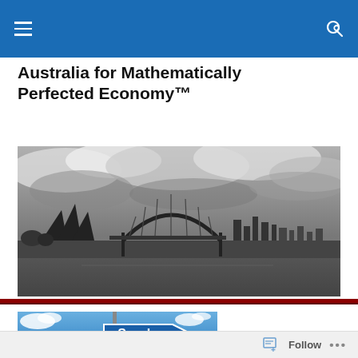Australia for Mathematically Perfected Economy™ — navigation bar
Australia for Mathematically Perfected Economy™
[Figure (photo): Black and white panoramic photo of Sydney Harbour showing the Sydney Opera House and Sydney Harbour Bridge with dramatic cloudy sky and city skyline in the background]
[Figure (photo): Photo of a blue directional road sign on a pole reading 'Surplus' pointing to the right, set against a blue sky with white clouds]